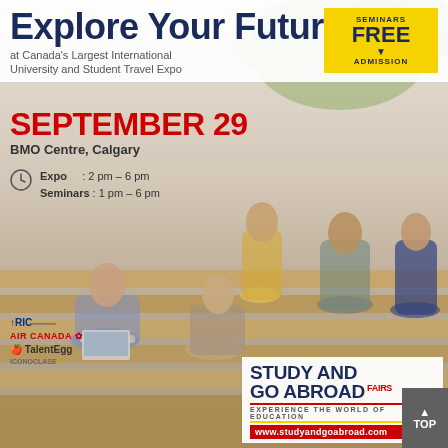Explore Your Future
at Canada's Largest International University and Student Travel Expo
SEMINARS FREE ADMISSION
SEPTEMBER 29
BMO Centre, Calgary
Expo : 2 pm – 6 pm
Seminars : 1 pm – 6 pm
[Figure (photo): Group of university students sitting on outdoor wooden steps, some working on laptops, socializing in a campus setting]
RIC
AIR CANADA
TalentEgg
ICONOCLASE
STUDY AND GO ABROAD FAIRS
EXPERIENCE THE WORLD OF EDUCATION
www.studyandgoabroad.com